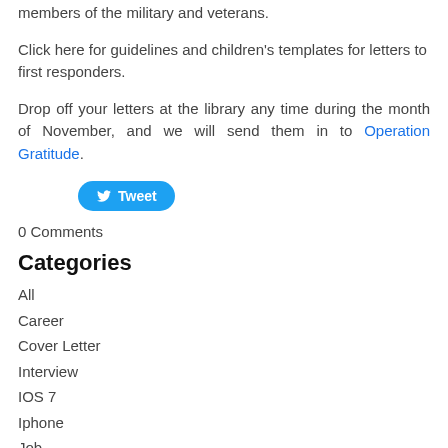members of the military and veterans.
Click here for guidelines and children's templates for letters to first responders.
Drop off your letters at the library any time during the month of November, and we will send them in to Operation Gratitude.
[Figure (other): Tweet button with Twitter bird icon]
0 Comments
Categories
All
Career
Cover Letter
Interview
IOS 7
Iphone
Job
Mobile Apps